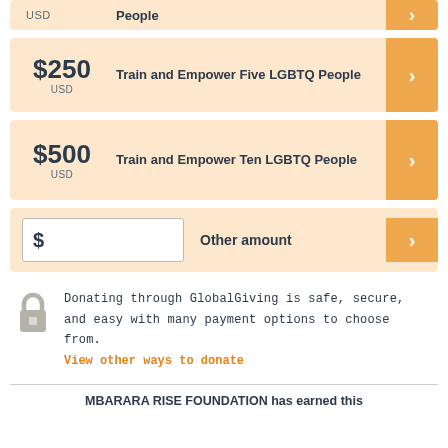USD | People (partial, top)
$250 USD - Train and Empower Five LGBTQ People
$500 USD - Train and Empower Ten LGBTQ People
$ Other amount
Donating through GlobalGiving is safe, secure, and easy with many payment options to choose from. View other ways to donate
MBARARA RISE FOUNDATION has earned this